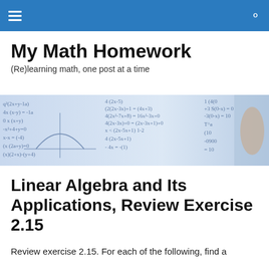My Math Homework
My Math Homework
(Re)learning math, one post at a time
[Figure (photo): Blue-tinted photo of handwritten math equations and formulas on paper, with a hand holding a pen visible at the right edge.]
Linear Algebra and Its Applications, Review Exercise 2.15
Review exercise 2.15. For each of the following, find a